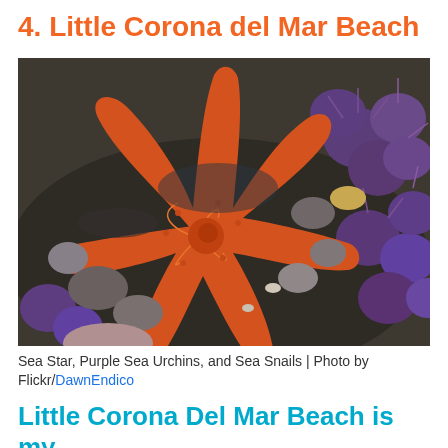4. Little Corona del Mar Beach
[Figure (photo): A large orange sea star surrounded by purple sea urchins and various smooth rocks on a tidal flat. The sea star is prominent in the center-left of the image.]
Sea Star, Purple Sea Urchins, and Sea Snails | Photo by Flickr/DawnEndico
Little Corona Del Mar Beach is my